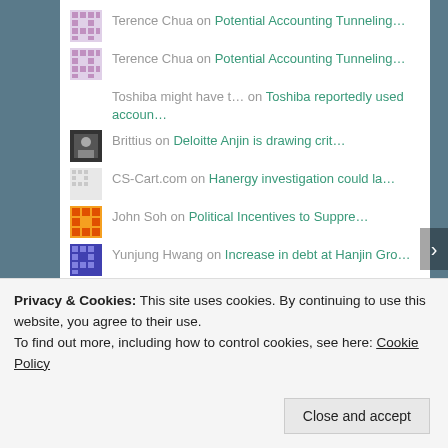Terence Chua on Potential Accounting Tunneling…
Terence Chua on Potential Accounting Tunneling…
Toshiba might have t… on Toshiba reportedly used accoun…
Brittius on Deloitte Anjin is drawing crit…
CS-Cart.com on Hanergy investigation could la…
John Soh on Political Incentives to Suppre…
Yunjung Hwang on Increase in debt at Hanjin Gro…
bambooinnovator on Open Letter to SGX/MAS: Reply…
Ong Peng on Open Letter to SGX/MAS: Reply…
Anon on Zhongmin Baihui – Overva…
terencechua8 on Potential Accounting Tunneling…
bambooinnovator on Potential Accounting…
Privacy & Cookies: This site uses cookies. By continuing to use this website, you agree to their use.
To find out more, including how to control cookies, see here: Cookie Policy
Close and accept